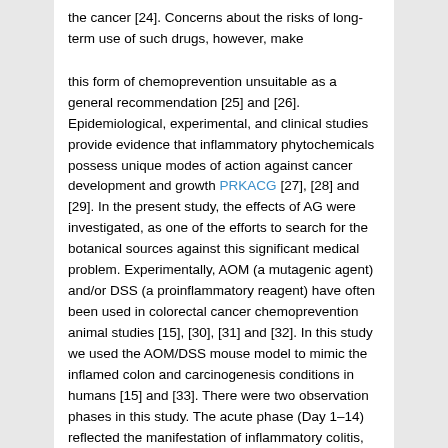the cancer [24]. Concerns about the risks of long-term use of such drugs, however, make
this form of chemoprevention unsuitable as a general recommendation [25] and [26]. Epidemiological, experimental, and clinical studies provide evidence that inflammatory phytochemicals possess unique modes of action against cancer development and growth PRKACG [27], [28] and [29]. In the present study, the effects of AG were investigated, as one of the efforts to search for the botanical sources against this significant medical problem. Experimentally, AOM (a mutagenic agent) and/or DSS (a proinflammatory reagent) have often been used in colorectal cancer chemoprevention animal studies [15], [30], [31] and [32]. In this study we used the AOM/DSS mouse model to mimic the inflamed colon and carcinogenesis conditions in humans [15] and [33]. There were two observation phases in this study. The acute phase (Day 1–14) reflected the manifestation of inflammatory colitis, measured by DAI (Fig. 3). The chronic phase (up to 90 days) revealed the colon